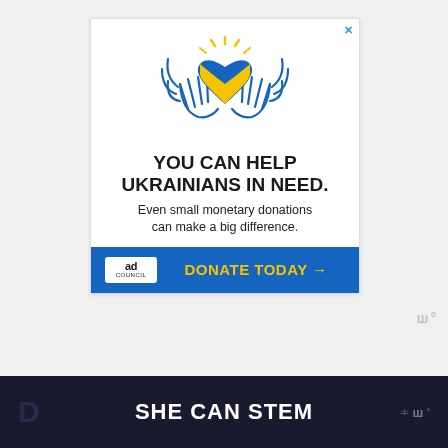[Figure (illustration): Advertisement banner. Blue and yellow Ukrainian flag heart held by two hands with wings, above bold text 'YOU CAN HELP UKRAINIANS IN NEED.' and subtext 'Even small monetary donations can make a big difference.' Blue footer bar with Ad Council logo and yellow 'DONATE TODAY →' button. X close button in top right corner.]
ш°
D   SHE CAN STEM   )i ш°